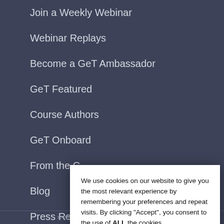Join a Weekly Webinar
Webinar Replays
Become a GeT Ambassador
GeT Featured
Course Authors
GeT Onboard
From the C…
Blog
Press Re…
We use cookies on our website to give you the most relevant experience by remembering your preferences and repeat visits. By clicking "Accept", you consent to the use of ALL the cookies.
Do not sell my personal information.
Cookie settings
ACCEPT
© 2022 GlobaleTraining. All Rights Reserved